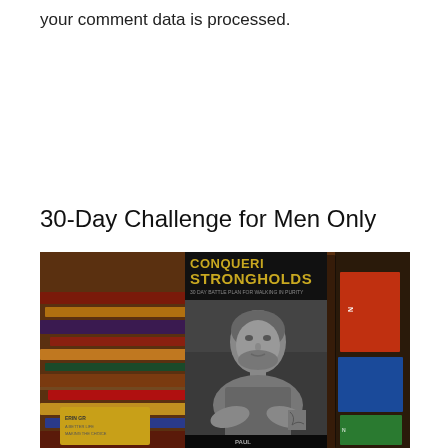your comment data is processed.
30-Day Challenge for Men Only
[Figure (photo): Photo of a book titled 'Conquering Strongholds: 30 Day Battle Plan for Walking in Purity' displayed upright among other books, with a black and white portrait of a middle-aged bearded man with tattoos on the cover.]